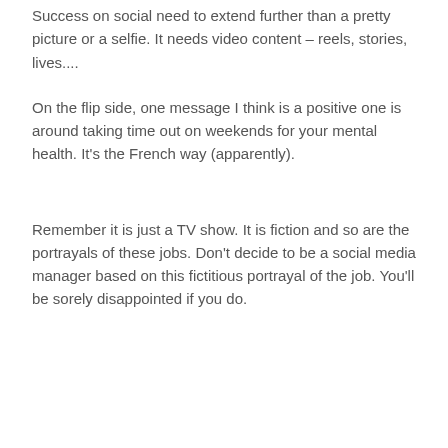Success on social need to extend further than a pretty picture or a selfie. It needs video content – reels, stories, lives....
On the flip side, one message I think is a positive one is around taking time out on weekends for your mental health. It's the French way (apparently).
Remember it is just a TV show. It is fiction and so are the portrayals of these jobs. Don't decide to be a social media manager based on this fictitious portrayal of the job. You'll be sorely disappointed if you do.